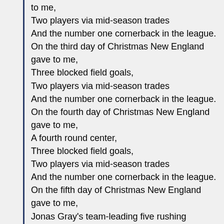to me,
Two players via mid-season trades
And the number one cornerback in the league.
On the third day of Christmas New England gave to me,
Three blocked field goals,
Two players via mid-season trades
And the number one cornerback in the league.
On the fourth day of Christmas New England gave to me,
A fourth round center,
Three blocked field goals,
Two players via mid-season trades
And the number one cornerback in the league.
On the fifth day of Christmas New England gave to me,
Jonas Gray's team-leading five rushing touchdowns,
A fourth round center,